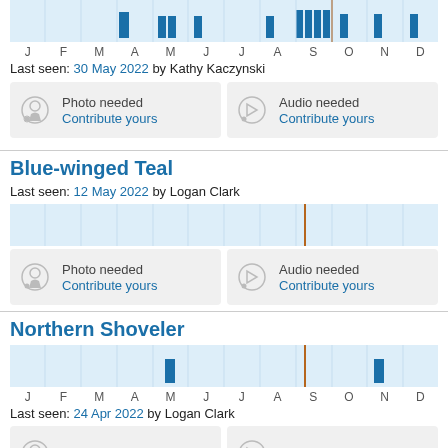[Figure (bar-chart): Sightings chart (top)]
Last seen: 30 May 2022 by Kathy Kaczynski
Photo needed Contribute yours
Audio needed Contribute yours
Blue-winged Teal
Last seen: 12 May 2022 by Logan Clark
Photo needed Contribute yours
Audio needed Contribute yours
Northern Shoveler
[Figure (bar-chart): Sightings chart (Northern Shoveler)]
Last seen: 24 Apr 2022 by Logan Clark
Photo needed
Audio needed